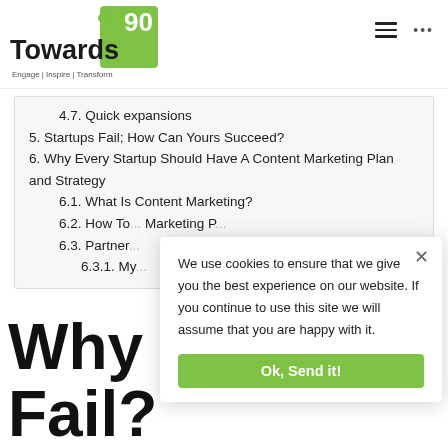[Figure (logo): Towards 90 logo with green box, number 90, brand name Towards, tagline Engage | Inspire | Transform]
4.7. Quick expansions
5. Startups Fail; How Can Yours Succeed?
6. Why Every Startup Should Have A Content Marketing Plan and Strategy
6.1. What Is Content Marketing?
6.2. How To... Marketing P...
6.3. Partner...
6.3.1. My...
We use cookies to ensure that we give you the best experience on our website. If you continue to use this site we will assume that you are happy with it.
Ok, Send it!
Why Fail?